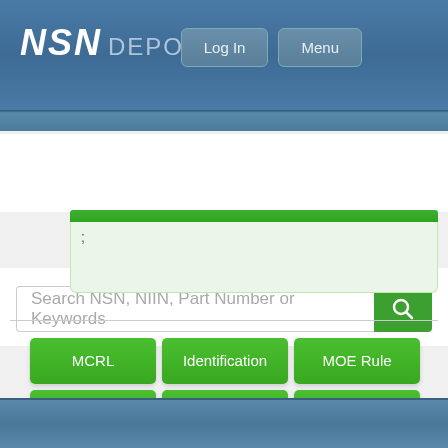NSN DEPOT
Log In  Menu
Search NSN, NIIN, Part Number or Keywords
;
| MCRL | Identification | MOE Rule |
| --- | --- | --- |
| CAGE | ISC | Freight |
| Management | Characteristics | Close All |